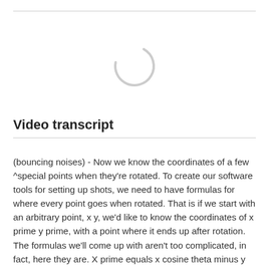[Figure (other): Loading spinner icon (circular arc indicating loading state)]
Video transcript
(bouncing noises) - Now we know the coordinates of a few ^special points when they're rotated. To create our software tools for setting up shots, we need to have formulas for where every point goes when rotated. That is if we start with an arbitrary point, x y, we'd like to know the coordinates of x prime y prime, with a point where it ends up after rotation. The formulas we'll come up with aren't too complicated, in fact, here they are. X prime equals x cosine theta minus y sine theta. Y prime